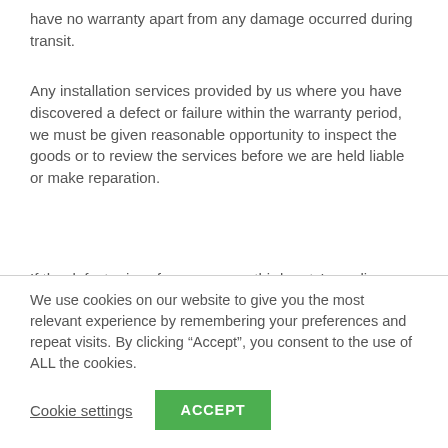have no warranty apart from any damage occurred during transit.
Any installation services provided by us where you have discovered a defect or failure within the warranty period, we must be given reasonable opportunity to inspect the goods or to review the services before we are held liable or make reparation.
If the defect arises from your or a third party’s negligence, misuse, alteration or repair of the goods or the services, we are not liable.
We use cookies on our website to give you the most relevant experience by remembering your preferences and repeat visits. By clicking “Accept”, you consent to the use of ALL the cookies.
Cookie settings
ACCEPT